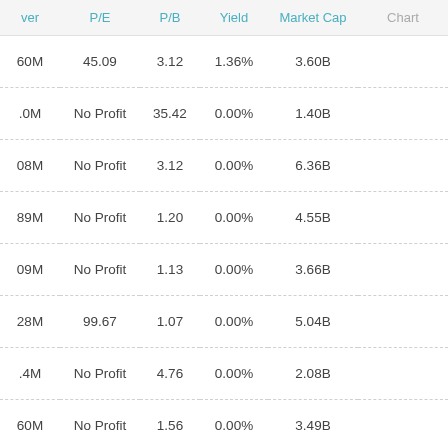| ver | P/E | P/B | Yield | Market Cap | Chart |
| --- | --- | --- | --- | --- | --- |
| 60M | 45.09 | 3.12 | 1.36% | 3.60B |  |
| .0M | No Profit | 35.42 | 0.00% | 1.40B |  |
| 08M | No Profit | 3.12 | 0.00% | 6.36B |  |
| 89M | No Profit | 1.20 | 0.00% | 4.55B |  |
| 09M | No Profit | 1.13 | 0.00% | 3.66B |  |
| 28M | 99.67 | 1.07 | 0.00% | 5.04B |  |
| .4M | No Profit | 4.76 | 0.00% | 2.08B |  |
| 60M | No Profit | 1.56 | 0.00% | 3.49B |  |